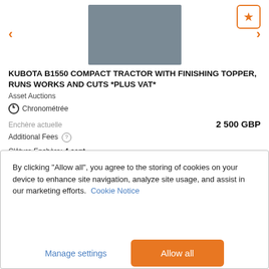[Figure (photo): Kubota B1550 compact tractor with finishing topper, photo of orange tractor from front-left angle on dirt/gravel surface]
KUBOTA B1550 COMPACT TRACTOR WITH FINISHING TOPPER, RUNS WORKS AND CUTS *PLUS VAT*
Asset Auctions
Chronométrée
Enchère actuelle   2 500 GBP
Additional Fees ?
Clôture Enchère: 4 sept.
Localisation géographique: See Lot Details, UK
By clicking "Allow all", you agree to the storing of cookies on your device to enhance site navigation, analyze site usage, and assist in our marketing efforts.  Cookie Notice
Manage settings
Allow all